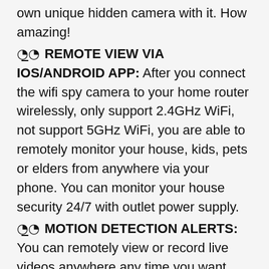own unique hidden camera with it. How amazing!
👁️_👁️ REMOTE VIEW VIA IOS/ANDROID APP: After you connect the wifi spy camera to your home router wirelessly, only support 2.4GHz WiFi, not support 5GHz WiFi, you are able to remotely monitor your house, kids, pets or elders from anywhere via your phone. You can monitor your house security 24/7 with outlet power supply.
👁️_👁️ MOTION DETECTION ALERTS: You can remotely view or record live videos anywhere any time you want. When someone comes around your house when you're not there. Alarm notifications will be pushed to your cell phone as soon as the motion is activated. And it will capture a snapshot for the motion detection and save in the app.
👁️_👁️ EVERYTHING YOU NEED IN A WIFI SPY CAMERA: Plus OUR AMAZING LIFETIME GUARANTEE. Choose Newwings, choose safety